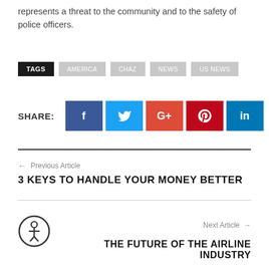represents a threat to the community and to the safety of police officers.
TAGS  AMERICA  CHAZ  NEWS  US NEWS
SHARE: [Facebook] [Twitter] [Google+] [Pinterest] [LinkedIn]
← Previous Article
3 KEYS TO HANDLE YOUR MONEY BETTER
Next Article →
THE FUTURE OF THE AIRLINE INDUSTRY